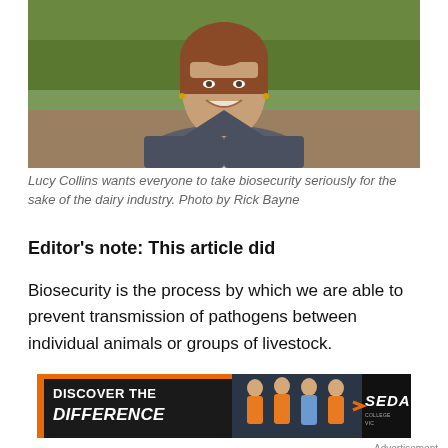[Figure (photo): Photograph of Lucy Collins, a woman with reddish-brown hair pulled back, wearing a grey vest over a pink shirt, smiling outdoors in front of a green corn/crop field.]
Lucy Collins wants everyone to take biosecurity seriously for the sake of the dairy industry. Photo by Rick Bayne
Editor's note: This article did
Biosecurity is the process by which we are able to prevent transmission of pathogens between individual animals or groups of livestock.
[Figure (photo): Advertisement banner for SEDA College with text 'DISCOVER THE DIFFERENCE' on a dark background with orange accent, showing young athletes and the SEDA logo.]
Advertisement